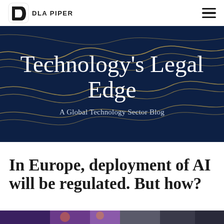[Figure (logo): DLA Piper logo with white rounded square icon and text 'DLA PIPER']
[Figure (illustration): Hero banner with dark navy background and gold/yellow wavy decorative lines]
Technology's Legal Edge
A Global Technology Sector Blog
In Europe, deployment of AI will be regulated. But how?
[Figure (photo): Partial image strip at bottom of page showing colorful scene]